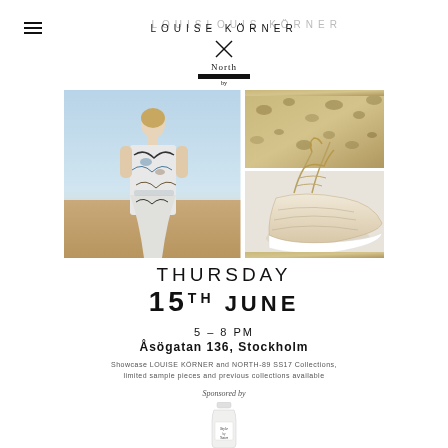LOUISE KÖRNER × North by
[Figure (photo): Collage of a female model wearing a floral/abstract print dress in a desert setting (left panel) and a close-up of a beige sneaker with laces on a leopard-print background (right panels)]
THURSDAY 15TH JUNE
5 – 8 PM
Åsögatan 136, Stockholm
Showcase LOUISE KÖRNER and NORTH-89 SS17 Collections, limited sample pieces and previous collections available
Sponsored by
[Figure (photo): A bottle of sponsored product (partial view at bottom of page)]